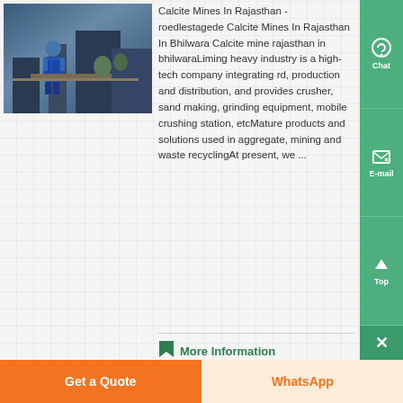[Figure (photo): Worker in blue overalls in an industrial/mining setting]
Calcite Mines In Rajasthan - roedlestagede Calcite Mines In Rajasthan In Bhilwara Calcite mine rajasthan in bhilwaraLiming heavy industry is a high-tech company integrating rd, production and distribution, and provides crusher, sand making, grinding equipment, mobile crushing station, etcMature products and solutions used in aggregate, mining and waste recyclingAt present, we ...
More Information
Chat
E-mail
Top
Get a Quote
WhatsApp